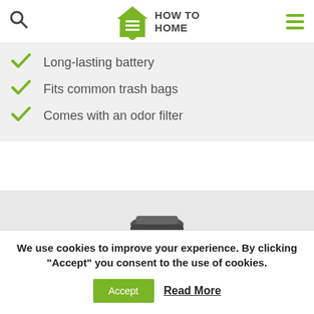HOW TO HOME
Long-lasting battery
Fits common trash bags
Comes with an odor filter
[Figure (photo): Partial view of a dark-colored trash can against a light gray background]
We use cookies to improve your experience. By clicking “Accept” you consent to the use of cookies.